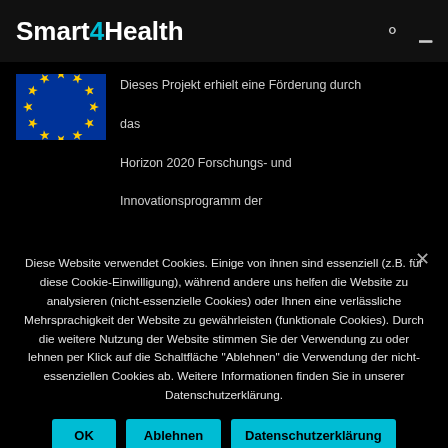Smart4Health
[Figure (illustration): EU flag (blue background with yellow stars in a circle)]
Dieses Projekt erhielt eine Förderung durch das Horizon 2020 Forschungs- und Innovationsprogramm der
Diese Website verwendet Cookies. Einige von ihnen sind essenziell (z.B. für diese Cookie-Einwilligung), während andere uns helfen die Website zu analysieren (nicht-essenzielle Cookies) oder Ihnen eine verlässliche Mehrsprachigkeit der Website zu gewährleisten (funktionale Cookies). Durch die weitere Nutzung der Website stimmen Sie der Verwendung zu oder lehnen per Klick auf die Schaltfläche "Ablehnen" die Verwendung der nicht-essenziellen Cookies ab. Weitere Informationen finden Sie in unserer Datenschutzerklärung.